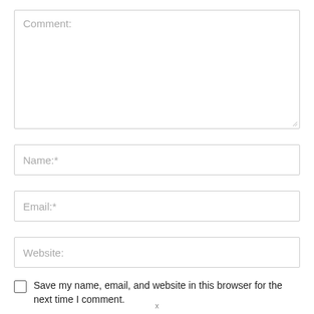Comment:
Name:*
Email:*
Website:
Save my name, email, and website in this browser for the next time I comment.